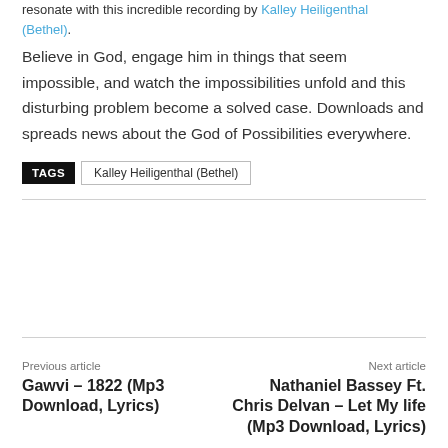resonate with this incredible recording by Kalley Heiligenthal (Bethel).
Believe in God, engage him in things that seem impossible, and watch the impossibilities unfold and this disturbing problem become a solved case. Downloads and spreads news about the God of Possibilities everywhere.
TAGS  Kalley Heiligenthal (Bethel)
Previous article
Gawvi – 1822 (Mp3 Download, Lyrics)
Next article
Nathaniel Bassey Ft. Chris Delvan – Let My life (Mp3 Download, Lyrics)